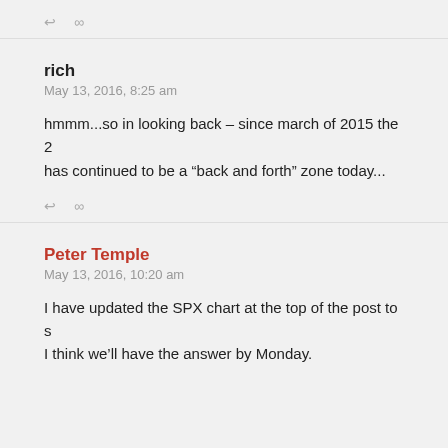↩ ∞
rich
May 13, 2016, 8:25 am
hmmm...so in looking back – since march of 2015 the 2 has continued to be a “back and forth” zone today...
↩ ∞
Peter Temple
May 13, 2016, 10:20 am
I have updated the SPX chart at the top of the post to s I think we'll have the answer by Monday.